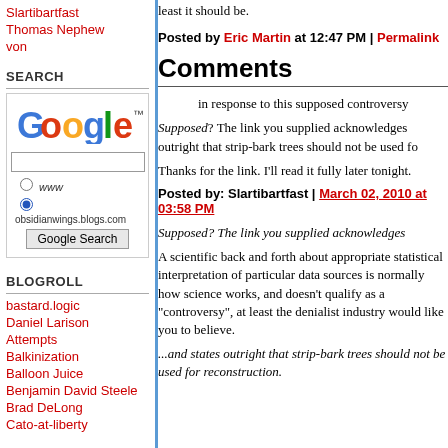Slartibartfast
Thomas Nephew
von
SEARCH
[Figure (screenshot): Google search widget with radio buttons for www and obsidianwings.blogs.com]
BLOGROLL
bastard.logic
Daniel Larison
Attempts
Balkinization
Balloon Juice
Benjamin David Steele
Brad DeLong
Cato-at-liberty
least it should be.
Posted by Eric Martin at 12:47 PM | Permalink
Comments
in response to this supposed controversy
Supposed? The link you supplied acknowledges outright that strip-bark trees should not be used fo
Thanks for the link. I'll read it fully later tonight.
Posted by: Slartibartfast | March 02, 2010 at 03:58 PM
Supposed? The link you supplied acknowledges
A scientific back and forth about appropriate statistical interpretation of particular data sources is normally how science works, and doesn't qualify as a "controversy", at least the denialist industry would like you to believe.
...and states outright that strip-bark trees should not be used for reconstruction.